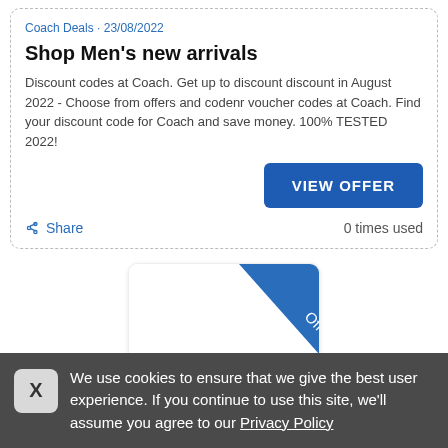Coach Deals · 23/08/2022
Shop Men's new arrivals
Discount codes at Coach. Get up to discount discount in August 2022 - Choose from offers and codenr voucher codes at Coach. Find your discount code for Coach and save money. 100% TESTED 2022!
VIEW OFFER
Share
0 times used
[Figure (illustration): A card with a blue diagonal ribbon/banner labelled 'Offer' in white text, and a small Coach logo at the bottom center.]
We use cookies to ensure that we give the best user experience. If you continue to use this site, we'll assume you agree to our Privacy Policy